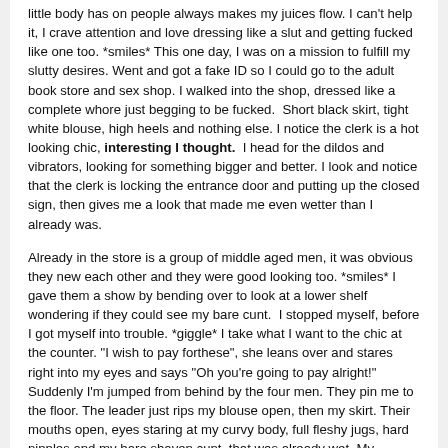little body has on people always makes my juices flow. I can't help it, I crave attention and love dressing like a slut and getting fucked like one too. *smiles* This one day, I was on a mission to fulfill my slutty desires. Went and got a fake ID so I could go to the adult book store and sex shop. I walked into the shop, dressed like a complete whore just begging to be fucked.  Short black skirt, tight white blouse, high heels and nothing else. I notice the clerk is a hot looking chic, interesting I thought.  I head for the dildos and vibrators, looking for something bigger and better. I look and notice that the clerk is locking the entrance door and putting up the closed sign, then gives me a look that made me even wetter than I already was.
Already in the store is a group of middle aged men, it was obvious they new each other and they were good looking too. *smiles* I gave them a show by bending over to look at a lower shelf wondering if they could see my bare cunt.  I stopped myself, before I got myself into trouble. *giggle* I take what I want to the chic at the counter. "I wish to pay forthese", she leans over and stares right into my eyes and says "Oh you're going to pay alright!" Suddenly I'm jumped from behind by the four men. They pin me to the floor. The leader just rips my blouse open, then my skirt. Their mouths open, eyes staring at my curvy body, full fleshy jugs, hard nipples and my bare shaven cunt, that was already wet. My